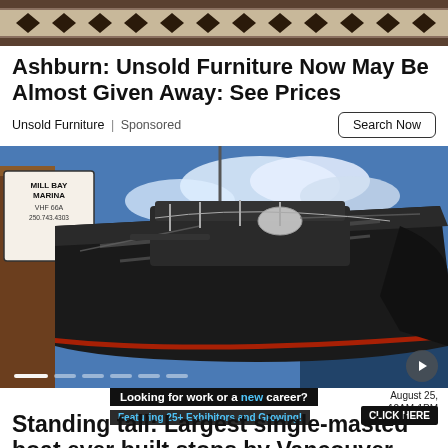[Figure (photo): Decorative rug/textile pattern — top banner ad image with geometric design]
Ashburn: Unsold Furniture Now May Be Almost Given Away: See Prices
Unsold Furniture | Sponsored
[Figure (photo): Large black single-masted sailing yacht docked at Mill Bay Marina, VHF 66A, 250-743-4303, with blue sky and clouds in the background]
Looking for work or a new career?
August 25, 10AM-1PM
Standing tall: Largest single-masted boat ever built stops by Vancouver Island